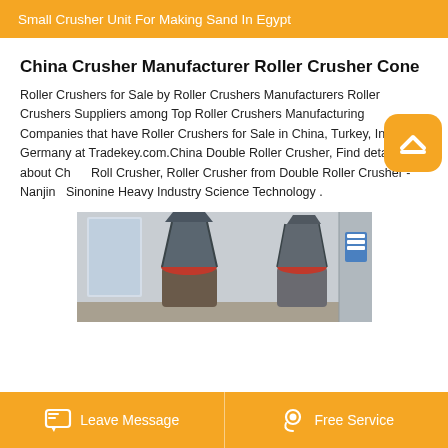Small Crusher Unit For Making Sand In Egypt
China Crusher Manufacturer Roller Crusher Cone
Roller Crushers for Sale by Roller Crushers Manufacturers Roller Crushers Suppliers among Top Roller Crushers Manufacturing Companies that have Roller Crushers for Sale in China, Turkey, India, Germany at Tradekey.com.China Double Roller Crusher, Find details about China Roll Crusher, Roller Crusher from Double Roller Crusher - Nanjing Sinonine Heavy Industry Science Technology .
[Figure (photo): Photo of cone crusher machines in an industrial setting, showing metallic cone-shaped crusher units with red accents at the base.]
Leave Message   Free Service